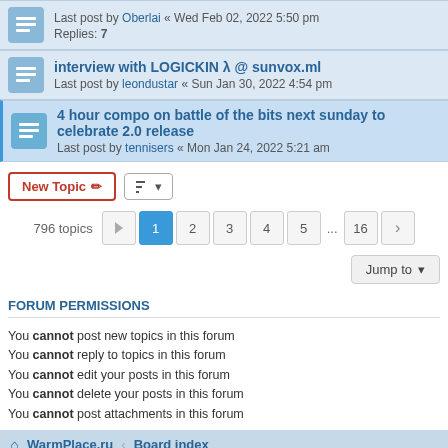Last post by Oberlai « Wed Feb 02, 2022 5:50 pm
Replies: 7
interview with LOGICKIN λ @ sunvox.ml
Last post by leondustar « Sun Jan 30, 2022 4:54 pm
4 hour compo on battle of the bits next sunday to celebrate 2.0 release
Last post by tennisers « Mon Jan 24, 2022 5:21 am
New Topic | 796 topics | 1 2 3 4 5 ... 16 | Jump to
FORUM PERMISSIONS
You cannot post new topics in this forum
You cannot reply to topics in this forum
You cannot edit your posts in this forum
You cannot delete your posts in this forum
You cannot post attachments in this forum
WarmPlace.ru · Board index · Delete cookies · All times are UTC+05:00
Powered by phpBB® Forum Software © phpBB Limited
Privacy | Terms